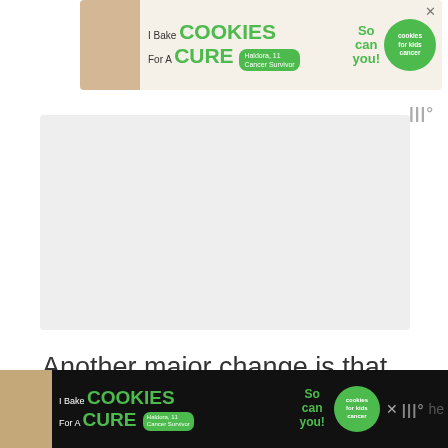[Figure (other): Advertisement banner: 'I Bake COOKIES For A CURE' with photo of girl and cookies for kids cancer charity, with close X button]
[Figure (other): Gray placeholder content box]
[Figure (logo): Watermark/logo 'III°' in gray]
Another major change is that once the divorce application has been filed with the court, the parties will have to wait for a minimum period of 20 weeks (5 months) prior to applying for the Conditional Order. This 'waiting period' seems excessive however the purpose is to allow the parties going through the
[Figure (other): Bottom advertisement banner (dark background): 'I Bake COOKIES For A CURE' with Haldora, 11 Cancer Survivor, So can you!, cookies for kids cancer logo, and III° watermark]